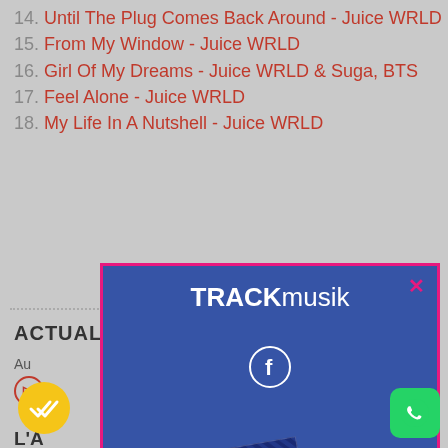14. Until The Plug Comes Back Around - Juice WRLD
15. From My Window - Juice WRLD
16. Girl Of My Dreams - Juice WRLD & Suga, BTS
17. Feel Alone - Juice WRLD
18. My Life In A Nutshell - Juice WRLD
ACTUALITÉ DE JUICE WRLD
[Figure (screenshot): TRACKmusik modal popup with blue background, pink border, logo text TRACK musik, Facebook circle icon, and diagonal badge reading LIKE NOUS: @TrackmusikFr, with pink X close button]
[Figure (other): Yellow circular button with double checkmark icon at bottom left]
[Figure (other): Green WhatsApp button at bottom right]